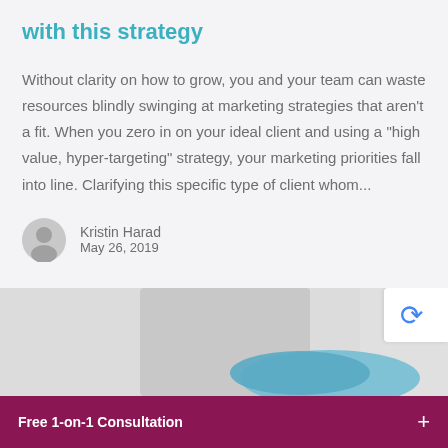with this strategy
Without clarity on how to grow, you and your team can waste resources blindly swinging at marketing strategies that aren't a fit. When you zero in on your ideal client and using a "high value, hyper-targeting" strategy, your marketing priorities fall into line. Clarifying this specific type of client whom...
Kristin Harad
May 26, 2019
[Figure (photo): Blurred photo showing what appears to be a spa or wellness setting with a blue folded towel, partially visible.]
Free 1-on-1 Consultation